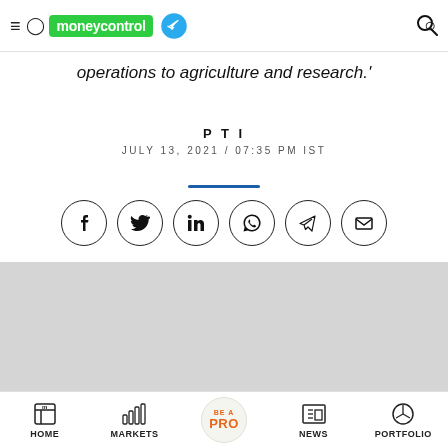moneycontrol
operations to agriculture and research.'
PTI
JULY 13, 2021 / 07:35 PM IST
[Figure (other): Social share buttons: Facebook, Twitter, LinkedIn, WhatsApp, Telegram, Email]
[Figure (other): Gray advertisement or image placeholder]
HOME  MARKETS  BE A PRO  NEWS  PORTFOLIO